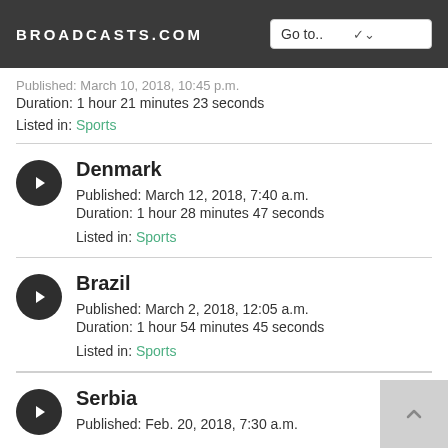BROADCASTS.COM
Published: March 10, 2018, 10:45 p.m.
Duration: 1 hour 21 minutes 23 seconds
Listed in: Sports
Denmark
Published: March 12, 2018, 7:40 a.m.
Duration: 1 hour 28 minutes 47 seconds
Listed in: Sports
Brazil
Published: March 2, 2018, 12:05 a.m.
Duration: 1 hour 54 minutes 45 seconds
Listed in: Sports
Serbia
Published: Feb. 20, 2018, 7:30 a.m.